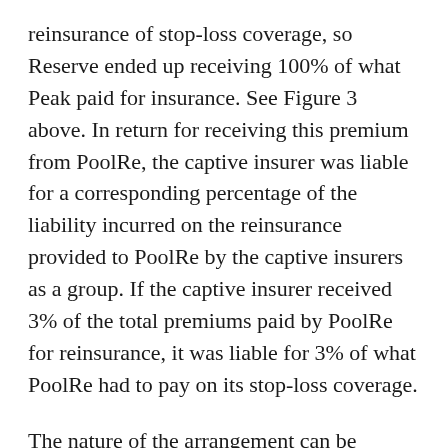reinsurance of stop-loss coverage, so Reserve ended up receiving 100% of what Peak paid for insurance. See Figure 3 above. In return for receiving this premium from PoolRe, the captive insurer was liable for a corresponding percentage of the liability incurred on the reinsurance provided to PoolRe by the captive insurers as a group. If the captive insurer received 3% of the total premiums paid by PoolRe for reinsurance, it was liable for 3% of what PoolRe had to pay on its stop-loss coverage.
The nature of the arrangement can be illustrated by a simplified example. Say, the PoolRe risk pool had three captives, A, B, and C, which respectively reinsure 50%, 30%, and 20% of the total stop-loss risk, because A's insureds pay 50% of the premiums to PoolRe for the stop-loss coverage, B's pay 30%, and C's pay 20%. If Captive B's insured has a covered